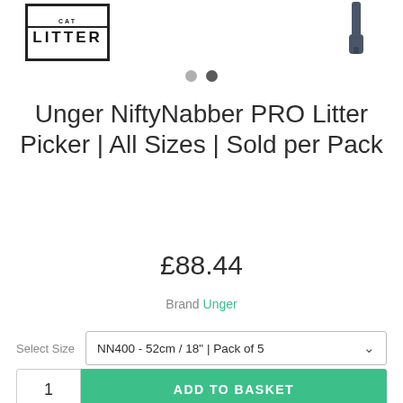[Figure (photo): Product thumbnail showing LITTER text in bordered box on left, and partial product image (litter picker handle) on right top]
Unger NiftyNabber PRO Litter Picker | All Sizes | Sold per Pack
£88.44
Brand Unger
Select Size  NN400 - 52cm / 18" | Pack of 5
1  ADD TO BASKET